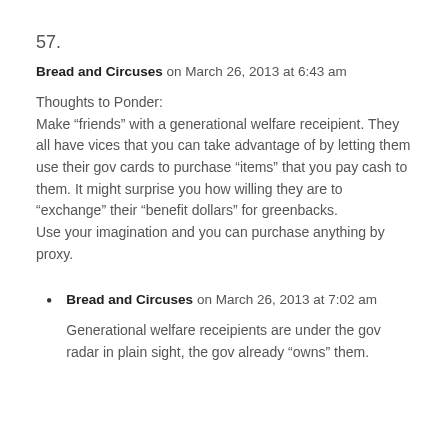57.
Bread and Circuses on March 26, 2013 at 6:43 am
Thoughts to Ponder:
Make “friends” with a generational welfare receipient. They all have vices that you can take advantage of by letting them use their gov cards to purchase “items” that you pay cash to them. It might surprise you how willing they are to “exchange” their “benefit dollars” for greenbacks.
Use your imagination and you can purchase anything by proxy.
Bread and Circuses on March 26, 2013 at 7:02 am
Generational welfare receipients are under the gov radar in plain sight, the gov already “owns” them.